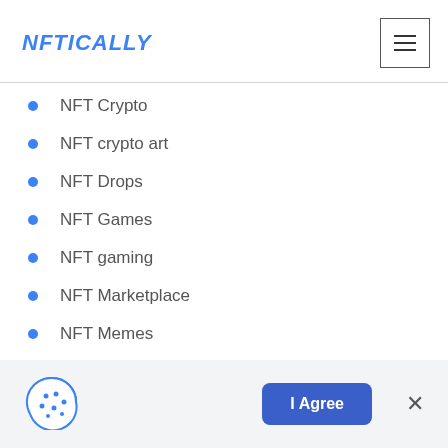NFTICALLY
NFT Crypto
NFT crypto art
NFT Drops
NFT Games
NFT gaming
NFT Marketplace
NFT Memes
[Figure (illustration): Cookie consent icon — a cookie with a bite taken out]
I Agree